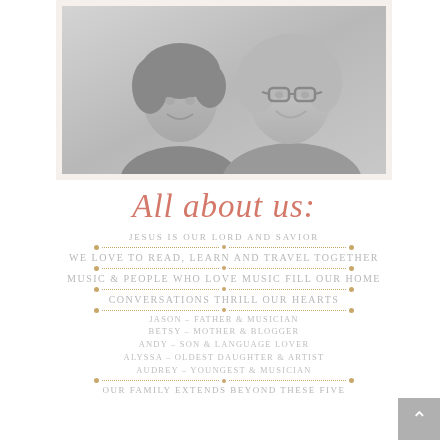[Figure (photo): Grayscale photo of two smiling women, framed with a cream/beige border on a white background]
All about us:
JESUS IS OUR LORD AND SAVIOR
WE LOVE TO READ, LEARN AND TRAVEL TOGETHER
MUSIC & PEOPLE WHO LOVE MUSIC FILL OUR HOME
CONVERSATIONS THRILL OUR HEARTS
JASON – FATHER & MUSICIAN
BETSY – MOTHER & BLOGGER
ANDY – SON & LANGUAGE LOVER
ALYSSA – OLDEST DAUGHTER & ARTIST
AUDREY – YOUNGEST & MUSICIAN
OUR FAMILY EXTENDS BEYOND THESE FIVE